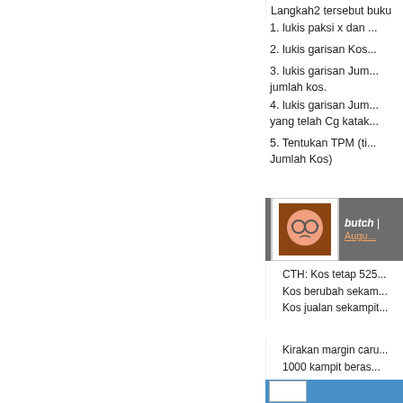Langkah2 tersebut buku teks dengan d...
1. lukis paksi x dan ...
2. lukis garisan Kos...
3. lukis garisan Juml... jumlah kos.
4. lukis garisan Juml... yang telah Cg katak...
5. Tentukan TPM (ti... Jumlah Kos)
[Figure (illustration): User avatar showing cartoon face with glasses on brown background]
butch | Augu...
CTH: Kos tetap 525
Kos berubah sekam...
Kos jualan sekampi...
Kirakan margin caru... 1000 kampit beras...
[Figure (illustration): Second user avatar at the bottom blue header bar]